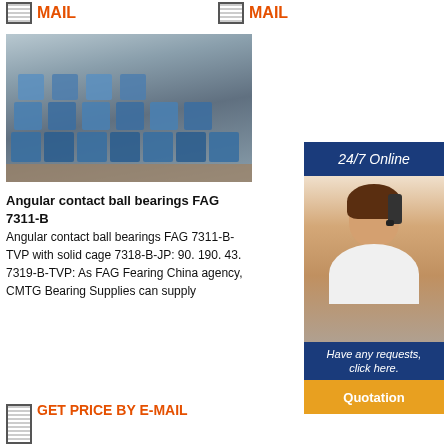MAIL
MAIL
[Figure (photo): Warehouse stacked with blue-wrapped angular contact ball bearings on wooden pallets]
Angular contact ball bearings FAG 7311-B
Angular contact ball bearings FAG 7311-B-TVP with solid cage 7318-B-JP: 90. 190. 43. 7319-B-TVP: As FAG Fearing China agency, CMTG Bearing Supplies can supply
[Figure (photo): 24/7 Online customer service banner with female agent wearing headset]
Have any requests, click here.
Quotation
GET PRICE BY E-MAIL